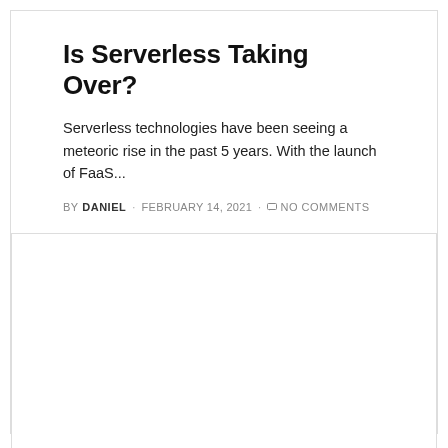Is Serverless Taking Over?
Serverless technologies have been seeing a meteoric rise in the past 5 years. With the launch of FaaS...
BY DANIEL · FEBRUARY 14, 2021 · NO COMMENTS